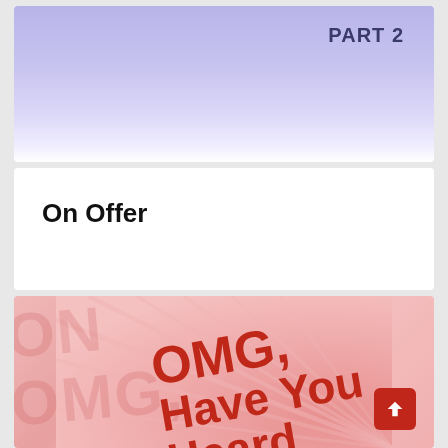[Figure (illustration): Top card with lavender-to-white gradient background and 'PART 2' text in dark blue bold font in the upper right corner]
PART 2
On Offer
[Figure (illustration): Bottom card with pink/rose background, diagonal rays, watermark 'OMG' text repeated, and bold red diagonal text reading 'OMG, Have You Heard' with a red scroll-to-top button in the bottom right]